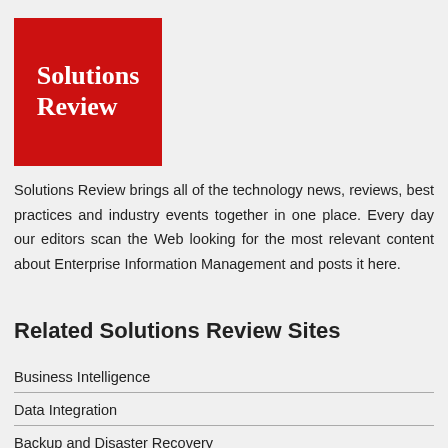[Figure (logo): Solutions Review logo — white text on red background square]
Solutions Review brings all of the technology news, reviews, best practices and industry events together in one place. Every day our editors scan the Web looking for the most relevant content about Enterprise Information Management and posts it here.
Related Solutions Review Sites
Business Intelligence
Data Integration
Backup and Disaster Recovery
Cloud Platforms